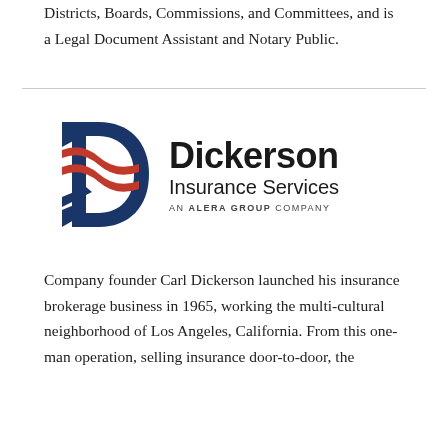Districts, Boards, Commissions, and Committees, and is a Legal Document Assistant and Notary Public.
[Figure (logo): Dickerson Insurance Services - An Alera Group Company logo with stylized D made of navy blue and red ribbon shapes]
Company founder Carl Dickerson launched his insurance brokerage business in 1965, working the multi-cultural neighborhood of Los Angeles, California. From this one-man operation, selling insurance door-to-door, the